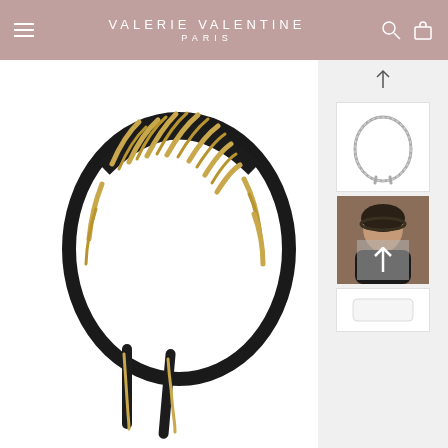VALERIE VALENTINE PARIS
[Figure (photo): Close-up product photo of a black leather and gold chain braided headband on white background]
[Figure (photo): Thumbnail image of silver/rhinestone headband on white background]
[Figure (photo): Thumbnail image of woman wearing black braided headband, model shot with upward arrow overlay]
[Figure (photo): Partial thumbnail of another product, cut off at bottom]